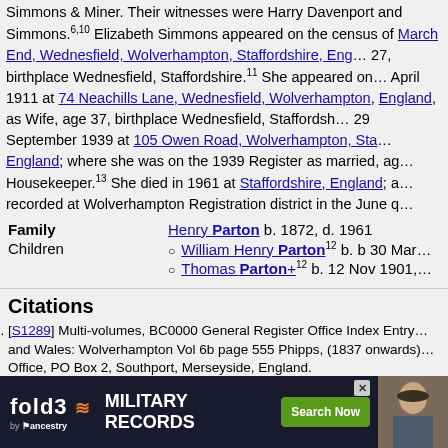Simmons & Miner. Their witnesses were Harry Davenport and Simmons.6,10 Elizabeth Simmons appeared on the census of March End, Wednesfield, Wolverhampton, Staffordshire, England, age 27, birthplace Wednesfield, Staffordshire.11 She appeared on April 1911 at 74 Neachills Lane, Wednesfield, Wolverhampton, England, as Wife, age 37, birthplace Wednesfield, Staffordshire. 29 September 1939 at 105 Owen Road, Wolverhampton, Staffordshire, England; where she was on the 1939 Register as married, age ..., Housekeeper.13 She died in 1961 at Staffordshire, England; and was recorded at Wolverhampton Registration district in the June quarter.
Family  Henry Parton b. 1872, d. 1961
Children  William Henry Parton12 b. b 30 Mar ...  Thomas Parton+12 b. 12 Nov 1901,
Citations
[S1289] Multi-volumes, BC0000 General Register Office Index Entry and Wales: Wolverhampton Vol 6b page 555 Phipps, (1837 onwards), General Register Office, PO Box 2, Southport, Merseyside, England.
[S1273] Various, A0000 Ancestry.co.uk (http://www.ancestry.co.uk/: Various), https://www.ancestry.co.uk/family-tree/person/tree/48145492/person/402148867132/facts.
[S...] ... Fe... https://www... lleton Stre... ry.co.uk/...
[S...]  ry.co.uk/...
[Figure (screenshot): fold3 by Ancestry advertisement banner: MILITARY RECORDS, Search Now button, soldier photo]